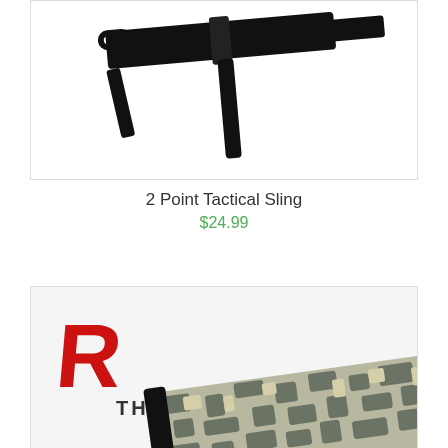[Figure (photo): Product image of a 2 Point Tactical Sling - black strap/webbing shown against white background, partially cropped at top]
2 Point Tactical Sling
$24.99
[Figure (photo): Product image showing a camouflage (ACU digital pattern) item with Rothco brand logo (red R with ROTHCO text) in upper left corner]